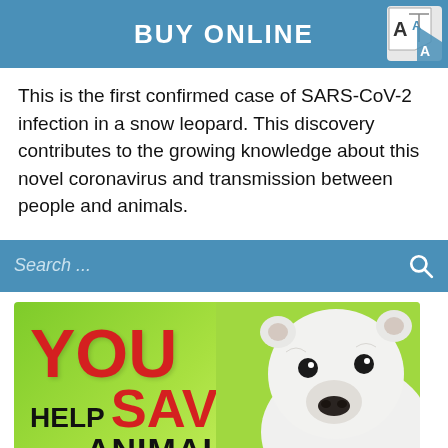BUY ONLINE
This is the first confirmed case of SARS-CoV-2 infection in a snow leopard. This discovery contributes to the growing knowledge about this novel coronavirus and transmission between people and animals.
[Figure (screenshot): Search bar with steel blue background, showing 'Search ...' placeholder text and a magnifying glass icon on the right]
[Figure (infographic): Zoo advertisement on green background with a polar bear photo. Text reads: YOU HELP SAVE ANIMALS with a red footer bar saying JUST BY VISITING THE ZOO with a right arrow icon.]